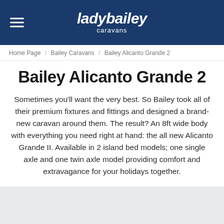ladybailey caravans
Home Page / Bailey Caravans / Bailey Alicanto Grande 2
Bailey Alicanto Grande 2
Sometimes you'll want the very best. So Bailey took all of their premium fixtures and fittings and designed a brand-new caravan around them. The result? An 8ft wide body with everything you need right at hand: the all new Alicanto Grande II. Available in 2 island bed models; one single axle and one twin axle model providing comfort and extravagance for your holidays together.